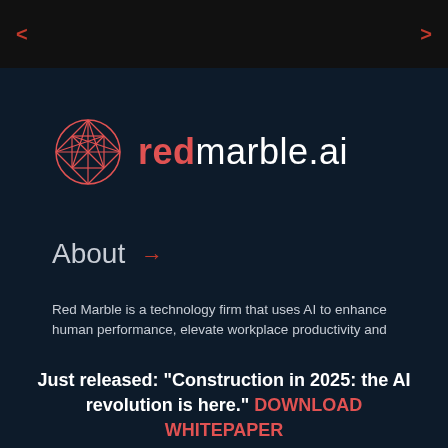< >
[Figure (logo): Red Marble AI geometric sphere logo in red/coral color next to the text 'redmarble.ai' where 'red' is in coral/red and 'marble.ai' is in white]
About →
Red Marble is a technology firm that uses AI to enhance human performance, elevate workplace productivity and
Just released: "Construction in 2025: the AI revolution is here." DOWNLOAD WHITEPAPER